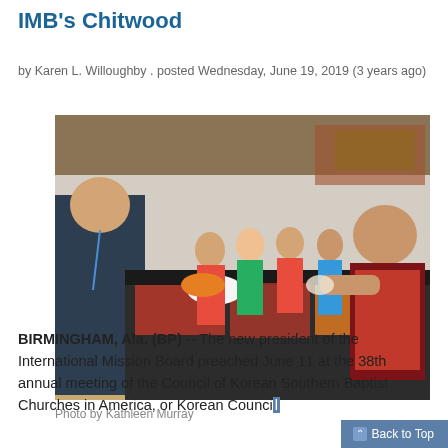IMB's Chitwood
by Karen L. Willoughby . posted Wednesday, June 19, 2019 (3 years ago)
[Figure (photo): People serving food at a buffet line in a gymnasium setting. Volunteers wearing red aprons serve food to attendees.]
Photo by Kathleen Murray
BIRMINGHAM, Ala. (BP) -- The new president of the International Mission Board preached June 11 at the 38th annual meeting of the Council of Korean Southern Baptist Churches in America, or Korean Council